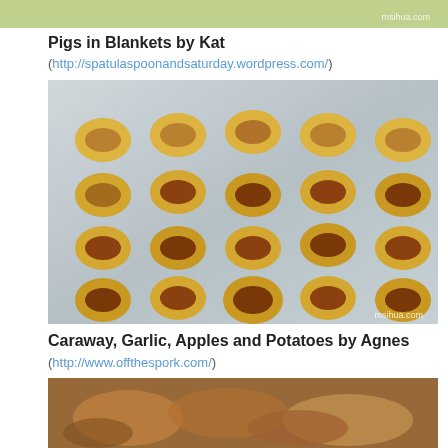[Figure (photo): Partial view of a food dish with greens and grains, with watermark msihua.com in top right]
Pigs in Blankets by Kat
(http://spatulaspoonandsaturday.wordpress.com/)
[Figure (photo): Photo of pigs in blankets (sausages wrapped in puff pastry) arranged in rows on a foil-lined baking tray, with watermark msihua.com in bottom right]
Caraway, Garlic, Apples and Potatoes by Agnes
(http://www.offthespork.com/)
[Figure (photo): Partial view of a food dish with roasted potatoes and apples]